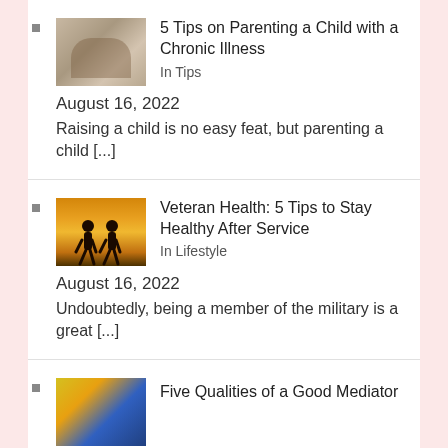5 Tips on Parenting a Child with a Chronic Illness
In Tips
August 16, 2022
Raising a child is no easy feat, but parenting a child [...]
Veteran Health: 5 Tips to Stay Healthy After Service
In Lifestyle
August 16, 2022
Undoubtedly, being a member of the military is a great [...]
Five Qualities of a Good Mediator